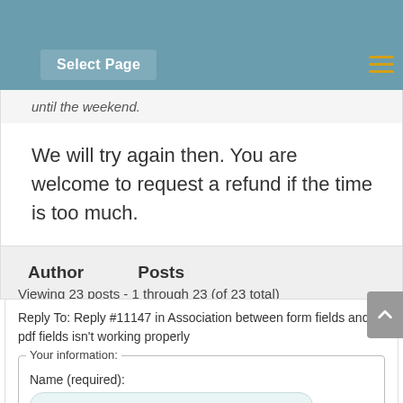Select Page
until the weekend.
We will try again then. You are welcome to request a refund if the time is too much.
| Author | Posts |
| --- | --- |
Viewing 23 posts - 1 through 23 (of 23 total)
Reply To: Reply #11147 in Association between form fields and pdf fields isn't working properly
Your information:
Name (required):
Mail (will not be published) (required):